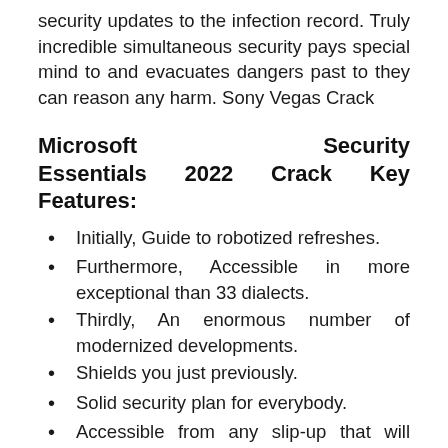security updates to the infection record. Truly incredible simultaneous security pays special mind to and evacuates dangers past to they can reason any harm. Sony Vegas Crack
Microsoft Security Essentials 2022 Crack Key Features:
Initially, Guide to robotized refreshes.
Furthermore, Accessible in more exceptional than 33 dialects.
Thirdly, An enormous number of modernized developments.
Shields you just previously.
Solid security plan for everybody.
Accessible from any slip-up that will forestall you.